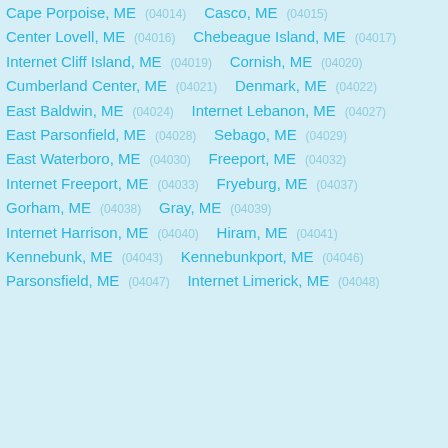Cape Porpoise, ME (04014)  Casco, ME (04015)
Center Lovell, ME (04016)  Chebeague Island, ME (04017)
Internet Cliff Island, ME (04019)  Cornish, ME (04020)
Cumberland Center, ME (04021)  Denmark, ME (04022)
East Baldwin, ME (04024)  Internet Lebanon, ME (04027)
East Parsonfield, ME (04028)  Sebago, ME (04029)
East Waterboro, ME (04030)  Freeport, ME (04032)
Internet Freeport, ME (04033)  Fryeburg, ME (04037)
Gorham, ME (04038)  Gray, ME (04039)
Internet Harrison, ME (04040)  Hiram, ME (04041)
Kennebunk, ME (04043)  Kennebunkport, ME (04046)
Parsonsfield, ME (04047)  Internet Limerick, ME (04048)